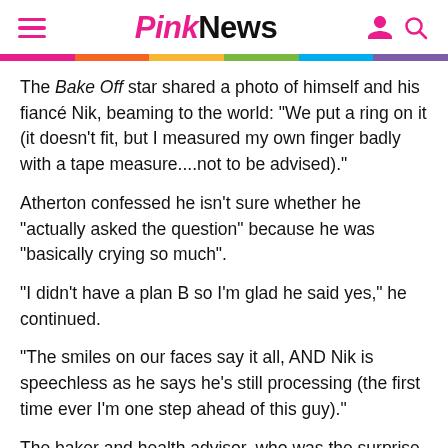PinkNews
The Bake Off star shared a photo of himself and his fiancé Nik, beaming to the world: "We put a ring on it (it doesn't fit, but I measured my own finger badly with a tape measure....not to be advised)."
Atherton confessed he isn't sure whether he "actually asked the question" because he was "basically crying so much".
"I didn't have a plan B so I'm glad he said yes," he continued.
"The smiles on our faces say it all, AND Nik is speechless as he says he's still processing (the first time ever I'm one step ahead of this guy)."
The baker and health advisor, who was the surprise